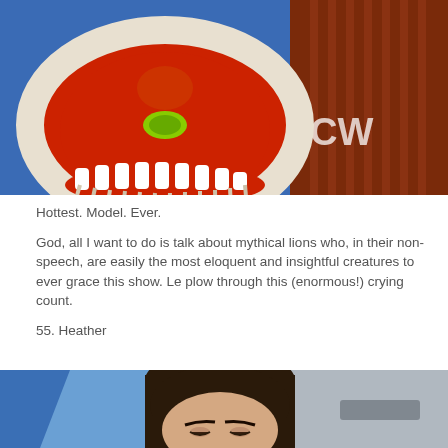[Figure (photo): Close-up photo of a person wearing a decorative Chinese lion dance costume head/mask with white fur trim, red and white details, and a yellow accent piece in the center. A CW network logo is partially visible in the upper right corner. Background shows blue and brown/red striped elements.]
Hottest. Model. Ever.
God, all I want to do is talk about mythical lions who, in their non-speech, are easily the most eloquent and insightful creatures to ever grace this show. Le plow through this (enormous!) crying count.
55. Heather
[Figure (photo): Photo of a young woman with long dark hair parted in the middle, looking downward. Background shows blue geometric shapes and a gray/white backdrop on the right side.]